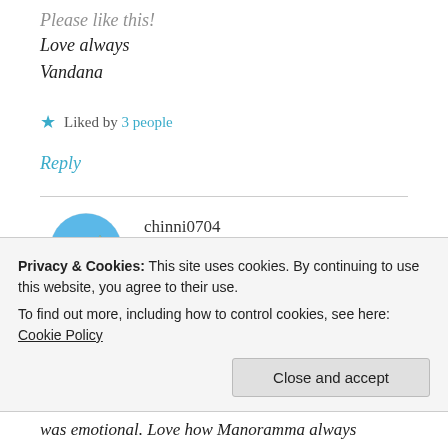Love always
Vandana
★ Liked by 3 people
Reply
chinni0704
AUGUST 29, 2019 AT 2:46 AM
Privacy & Cookies: This site uses cookies. By continuing to use this website, you agree to their use.
To find out more, including how to control cookies, see here: Cookie Policy
Close and accept
was emotional. Love how Manoramma always